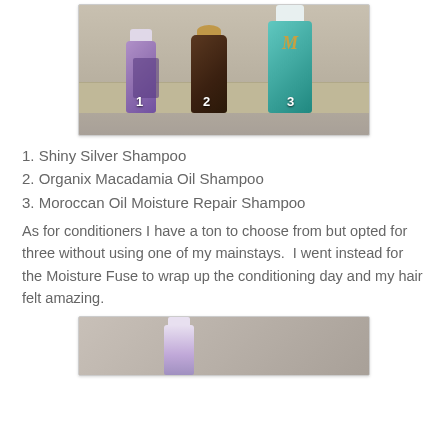[Figure (photo): Photo of three shampoo bottles numbered 1, 2, 3 on a shelf. Bottle 1 is a purple Shiny Silver Shampoo, bottle 2 is a dark brown Organix Macadamia Oil Shampoo, bottle 3 is a teal Moroccan Oil Moisture Repair Shampoo.]
1. Shiny Silver Shampoo
2. Organix Macadamia Oil Shampoo
3. Moroccan Oil Moisture Repair Shampoo
As for conditioners I have a ton to choose from but opted for three without using one of my mainstays.  I went instead for the Moisture Fuse to wrap up the conditioning day and my hair felt amazing.
[Figure (photo): Partial photo of conditioner bottles, partially cut off at bottom of page.]